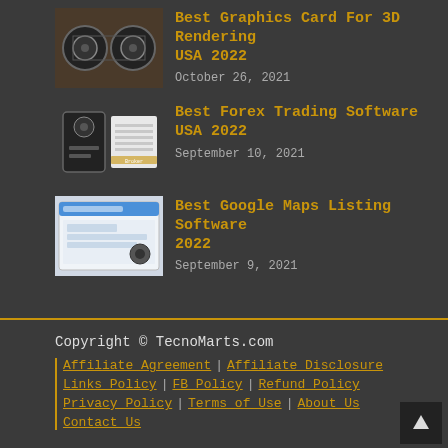Best Graphics Card For 3D Rendering USA 2022 — October 26, 2021
Best Forex Trading Software USA 2022 — September 10, 2021
Best Google Maps Listing Software 2022 — September 9, 2021
Copyright © TecnoMarts.com | Affiliate Agreement | Affiliate Disclosure | Links Policy | FB Policy | Refund Policy | Privacy Policy | Terms of Use | About Us | Contact Us